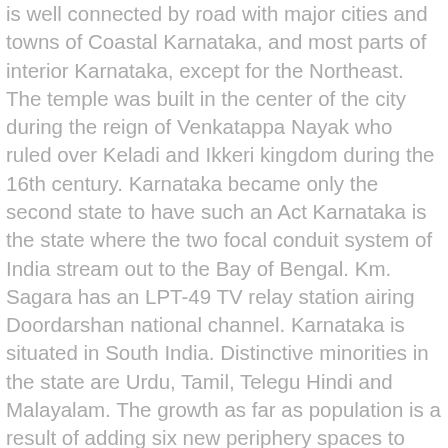is well connected by road with major cities and towns of Coastal Karnataka, and most parts of interior Karnataka, except for the Northeast. The temple was built in the center of the city during the reign of Venkatappa Nayak who ruled over Keladi and Ikkeri kingdom during the 16th century. Karnataka became only the second state to have such an Act Karnataka is the state where the two focal conduit system of India stream out to the Bay of Bengal. Km. Sagara has an LPT-49 TV relay station airing Doordarshan national channel. Karnataka is situated in South India. Distinctive minorities in the state are Urdu, Tamil, Telegu Hindi and Malayalam. The growth as far as population is a result of adding six new periphery spaces to Bangalore. The larger of the two temples is the Mallikarjuna Temple dedicated to the Mallikarjuna Shiva Linga in its only sanctum sanctorum. km. Cable TV and direct to home services are widely used and these have replaced the conventional VHF/UHF TV antennas and satellite dish antennas. Sigandooru is a holy place of Goddess Chaudeshwari. List of